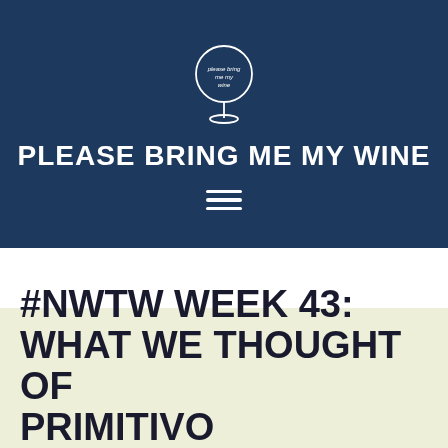[Figure (logo): White wine glass illustration with small text inside the bowl, on dark navy background]
PLEASE BRING ME MY WINE
[Figure (other): Hamburger menu icon (three horizontal white lines)]
#NWTW WEEK 43: WHAT WE THOUGHT OF PRIMITIVO